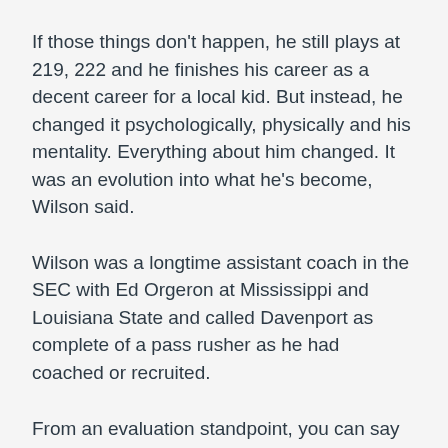If those things don't happen, he still plays at 219, 222 and he finishes his career as a decent career for a local kid. But instead, he changed it psychologically, physically and his mentality. Everything about him changed. It was an evolution into what he’s become, Wilson said.
Wilson was a longtime assistant coach in the SEC with Ed Orgeron at Mississippi and Louisiana State and called Davenport as complete of a pass rusher as he had coached or recruited.
From an evaluation standpoint, you can say lots of people missed on this guy. But from where he was, he had to be developed, he had to be receptive to that and then see himself as that, Wilson said. He exemplifies what you want in a Packers Cheap Jerseys student-athlete, what you want when he